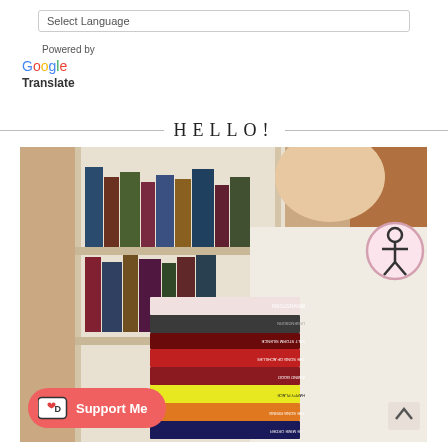Select Language
Powered by Google Translate
HELLO!
[Figure (photo): Woman holding a large stack of books in front of a bookshelf, with a 'Support Me' button overlay and accessibility icon]
Support Me